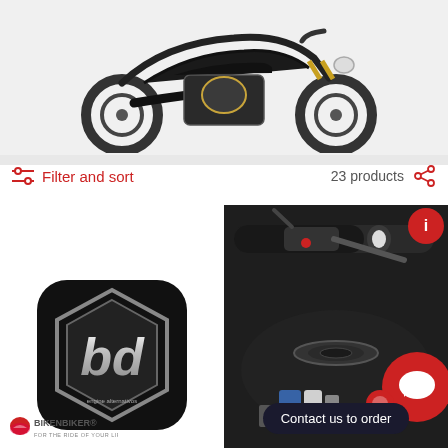[Figure (photo): Harley-Davidson motorcycle (dark/black) shown in side profile against a light gray background]
Filter and sort
23 products
[Figure (logo): BD logo - black rounded square with hexagon shape containing stylized 'bd' letters in silver/chrome]
[Figure (photo): Motorcycle handlebar grip and throttle closeup, plus fuel tank with cap ring visible, dark/black motorcycle components]
[Figure (logo): BIKENBIKER logo with helmet icon and tagline FOR THE RIDE OF YOUR LIFE]
Contact us to order